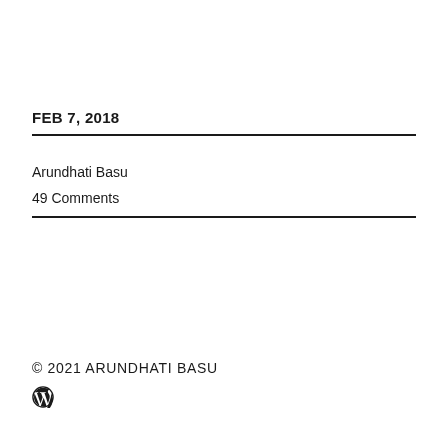FEB 7, 2018
Arundhati Basu
49 Comments
© 2021 ARUNDHATI BASU